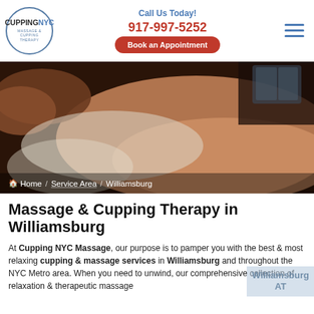[Figure (logo): CuppingNYC Massage & Cupping Therapy circular logo with text]
Call Us Today!
917-997-5252
Book an Appointment
[Figure (photo): Close-up photo of a massage therapist working on a client's back]
Home / Service Area / Williamsburg
Massage & Cupping Therapy in Williamsburg
At Cupping NYC Massage, our purpose is to pamper you with the best & most relaxing cupping & massage services in Williamsburg and throughout the NYC Metro area. When you need to unwind, our comprehensive collection of relaxation & therapeutic massage